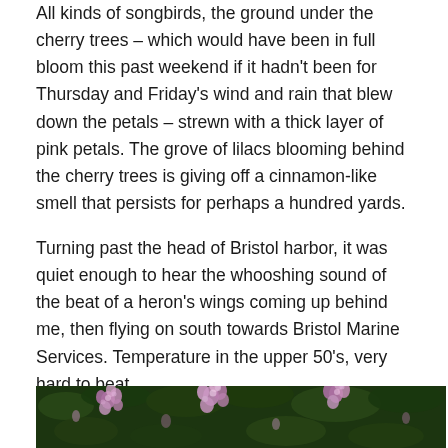All kinds of songbirds, the ground under the cherry trees – which would have been in full bloom this past weekend if it hadn't been for Thursday and Friday's wind and rain that blew down the petals – strewn with a thick layer of pink petals. The grove of lilacs blooming behind the cherry trees is giving off a cinnamon-like smell that persists for perhaps a hundred yards.
Turning past the head of Bristol harbor, it was quiet enough to hear the whooshing sound of the beat of a heron's wings coming up behind me, then flying on south towards Bristol Marine Services. Temperature in the upper 50's, very hard to beat.
The final stages of lilac blooming on the stem I've been tracking are below: April 18th, April 25th, and May 2nd.
[Figure (photo): Photo of lilac flowers blooming, showing pink/purple lilac blossoms against dark green foliage background. Bottom strip of the page.]